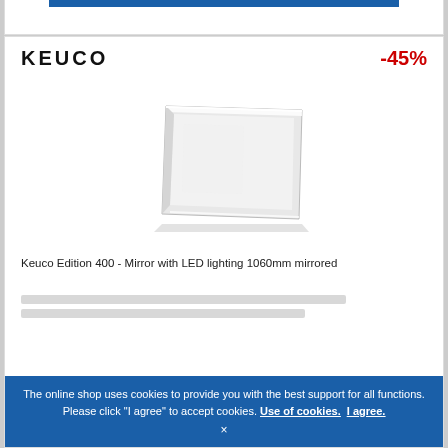[Figure (logo): KEUCO brand logo in black bold letters]
-45%
[Figure (photo): Keuco Edition 400 mirror with LED lighting, rectangular silver/white mirror shown at slight angle]
Keuco Edition 400 - Mirror with LED lighting 1060mm mirrored
The online shop uses cookies to provide you with the best support for all functions. Please click "I agree" to accept cookies. Use of cookies. I agree.